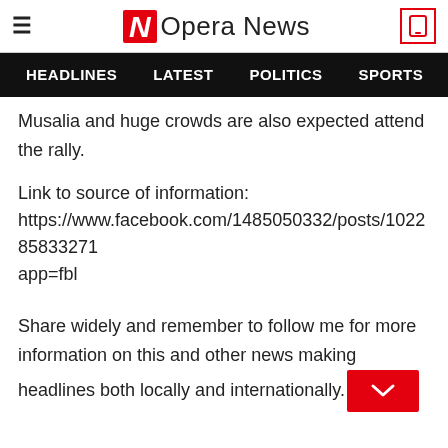Opera News
HEADLINES   LATEST   POLITICS   SPORTS
Musalia and huge crowds are also expected attend the rally.
Link to source of information:
https://www.facebook.com/1485050332/posts/1022858332714... app=fbl
Share widely and remember to follow me for more information on this and other news making headlines both locally and internationally.